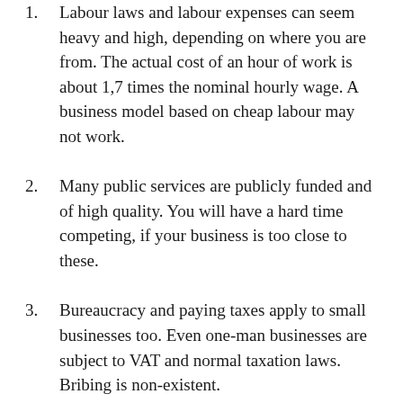1. Labour laws and labour expenses can seem heavy and high, depending on where you are from. The actual cost of an hour of work is about 1,7 times the nominal hourly wage. A business model based on cheap labour may not work.
2. Many public services are publicly funded and of high quality. You will have a hard time competing, if your business is too close to these.
3. Bureaucracy and paying taxes apply to small businesses too. Even one-man businesses are subject to VAT and normal taxation laws. Bribing is non-existent.
4. Finns are quite keen on digital. Cash is practically non-existent between businesses,